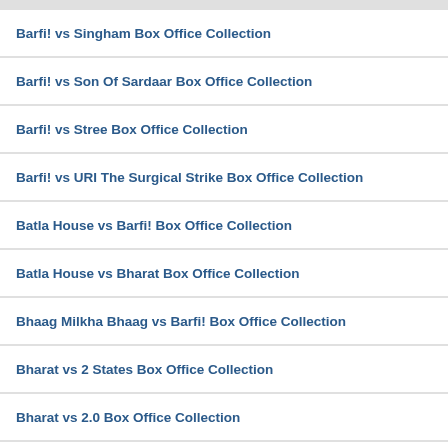Barfi! vs Singham Box Office Collection
Barfi! vs Son Of Sardaar Box Office Collection
Barfi! vs Stree Box Office Collection
Barfi! vs URI The Surgical Strike Box Office Collection
Batla House vs Barfi! Box Office Collection
Batla House vs Bharat Box Office Collection
Bhaag Milkha Bhaag vs Barfi! Box Office Collection
Bharat vs 2 States Box Office Collection
Bharat vs 2.0 Box Office Collection
Bharat vs 3 Idiots Box Office Collection